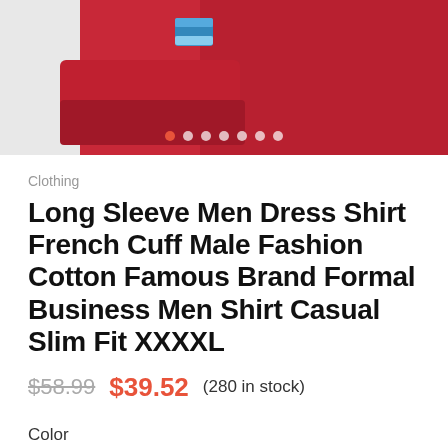[Figure (photo): Product image of a red/dark red long sleeve dress shirt with French cuffs, featuring a colorful cufflink, displayed against a light gray and dark red background with carousel navigation dots at the bottom]
Clothing
Long Sleeve Men Dress Shirt French Cuff Male Fashion Cotton Famous Brand Formal Business Men Shirt Casual Slim Fit XXXXL
$58.99  $39.52  (280 in stock)
Color
T199A  T199B
T199A  T199B